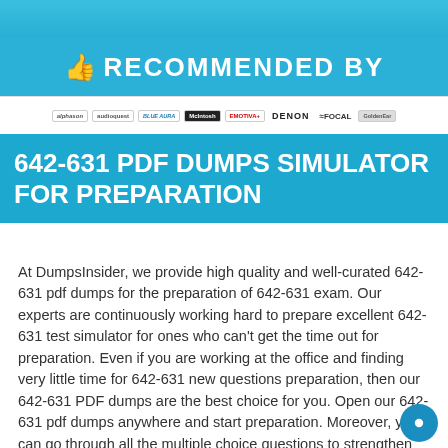[Figure (illustration): Top blue decorative bar/banner area]
👍 RECOMMENDED BY
[Figure (logo): Row of brand logos: alphason, audioquest, Blue Aura, McIntosh, Emotiva, DENON, FOCAL, GoldenEar]
642-631 PDF DUMPS SIMULATOR FOR PREPARATION
At DumpsInsider, we provide high quality and well-curated 642-631 pdf dumps for the preparation of 642-631 exam. Our experts are continuously working hard to prepare excellent 642-631 test simulator for ones who can't get the time out for preparation. Even if you are working at the office and finding very little time for 642-631 new questions preparation, then our 642-631 PDF dumps are the best choice for you. Open our 642-631 pdf dumps anywhere and start preparation. Moreover, you can go through all the multiple choice questions to strengthen your 642-631 preparation level. You can instantly download the latest and updated 642-631 test simulator dumps without any trouble.